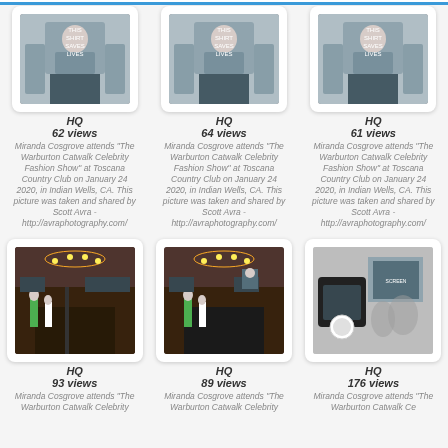[Figure (photo): Miranda Cosgrove at Warburton Catwalk Celebrity Fashion Show - person photo 1 (HQ, 62 views)]
HQ
62 views
Miranda Cosgrove attends "The Warburton Catwalk Celebrity Fashion Show" at Toscana Country Club on January 24 2020, in Indian Wells, CA. This picture was taken and shared by Scott Avra - http://avraphotography.com/
[Figure (photo): Miranda Cosgrove at Warburton Catwalk Celebrity Fashion Show - person photo 2 (HQ, 64 views)]
HQ
64 views
Miranda Cosgrove attends "The Warburton Catwalk Celebrity Fashion Show" at Toscana Country Club on January 24 2020, in Indian Wells, CA. This picture was taken and shared by Scott Avra - http://avraphotography.com/
[Figure (photo): Miranda Cosgrove at Warburton Catwalk Celebrity Fashion Show - person photo 3 (HQ, 61 views)]
HQ
61 views
Miranda Cosgrove attends "The Warburton Catwalk Celebrity Fashion Show" at Toscana Country Club on January 24 2020, in Indian Wells, CA. This picture was taken and shared by Scott Avra - http://avraphotography.com/
[Figure (photo): Warburton Catwalk event venue/runway photo 1 (HQ, 93 views)]
HQ
93 views
Miranda Cosgrove attends "The Warburton Catwalk Celebrity
[Figure (photo): Warburton Catwalk event venue/runway photo 2 (HQ, 89 views)]
HQ
89 views
Miranda Cosgrove attends "The Warburton Catwalk Celebrity
[Figure (photo): Warburton Catwalk event photo 3 (HQ, 176 views)]
HQ
176 views
Miranda Cosgrove attends "The Warburton Catwalk Ce